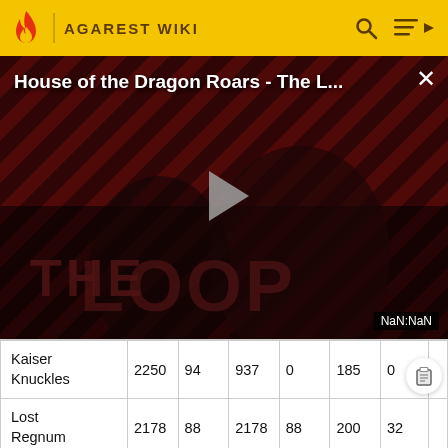AGAREST WIKI
[Figure (screenshot): Video thumbnail for 'House of the Dragon Roars - The L...' with a play button in the center, showing two figures against a diagonal striped red/black background with 'THE LOOP' text. NaN:NaN timer badge in bottom right corner. Close (X) button in top right.]
| Kaiser Knuckles | 2250 | 94 | 937 | 0 | 185 | 0 |  |
| Lost Regnum | 2178 | 88 | 2178 | 88 | 200 | 32 |  |
[Figure (logo): Partial red flame logo at bottom left]